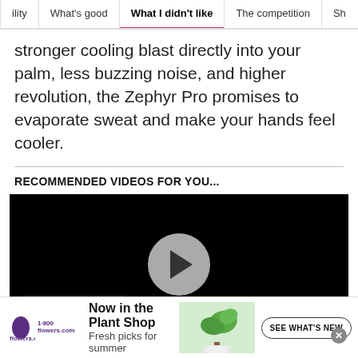ility | What's good | What I didn't like | The competition | Sh
stronger cooling blast directly into your palm, less buzzing noise, and higher revolution, the Zephyr Pro promises to evaporate sweat and make your hands feel cooler.
RECOMMENDED VIDEOS FOR YOU...
[Figure (screenshot): Embedded video player with black background, a circular play button in the center, and a 'PLAY SOUND' button in the lower left corner.]
[Figure (screenshot): Advertisement banner for 1-800flowers.com: 'Now in the Plant Shop — Fresh picks for summer' with a plant image and 'SEE WHAT'S NEW' button.]